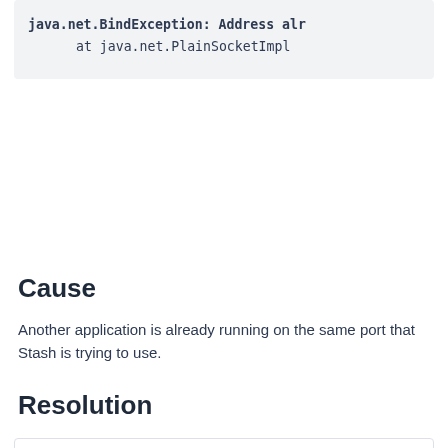java.net.BindException: Address alr
        at java.net.PlainSocketImpl
Cause
Another application is already running on the same port that Stash is trying to use.
Resolution
If this is your first time running Stash or you have recently added applications or made changes to the system, investigate what's running on port 7990 (Default port for Stash) .
If Stash was not shut down properly, you can restart the machine or kill the